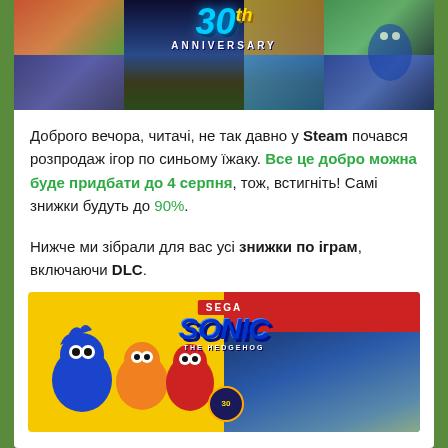[Figure (illustration): Sonic the Hedgehog 30th Anniversary banner with colorful collage of game scenes and glowing blue Sonic logo on dark background]
Доброго вечора, читачі, не так давно у Steam почався розпродаж ігор по синьому їжаку. Все це добро можна буде придбати до 4 серпня, тож, встигніть! Самі знижки будуть до 90%.
Нижче ми зібрали для вас усі знижки по іграм, включаючи DLC.
[Figure (illustration): Sonic the Hedgehog promotional banner split: left yellow half with classic Sonic characters, right red/blue half with Team Sonic Racing scene, SEGA and Sonic The Hedgehog logo in center]
Знижка (90%)
1. Team Sonic Racing – 104₴ 1049₴